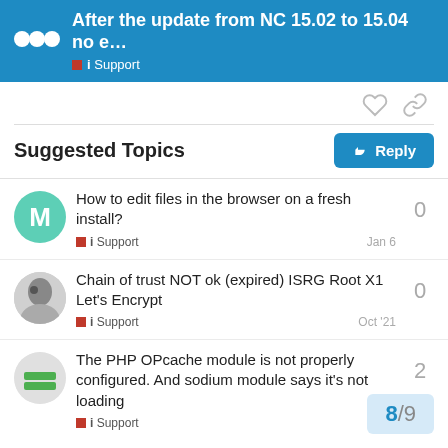After the update from NC 15.02 to 15.04 no e… — i Support
Suggested Topics
How to edit files in the browser on a fresh install? — i Support — Jan 6 — 0 replies
Chain of trust NOT ok (expired) ISRG Root X1 Let'sEncrypt — i Support — Oct '21 — 0 replies
The PHP OPcache module is not properly configured. And sodium module says it's not loading — i Support — 2 replies
8 / 9